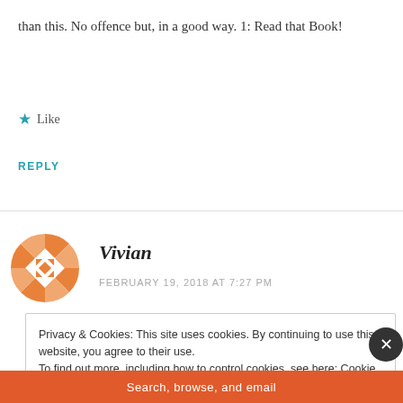than this. No offence but, in a good way. 1: Read that Book!
★ Like
REPLY
Vivian
FEBRUARY 19, 2018 AT 7:27 PM
Privacy & Cookies: This site uses cookies. By continuing to use this website, you agree to their use.
To find out more, including how to control cookies, see here: Cookie Policy
Close and accept